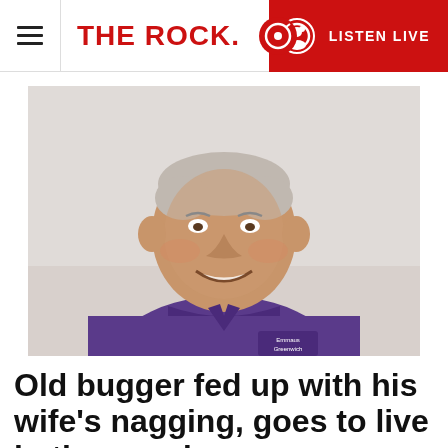THE ROCK. | LISTEN LIVE
[Figure (photo): Smiling older man with short grey hair wearing a purple polo shirt with an Emmaus Greenwich logo, seated indoors against a light wall.]
Old bugger fed up with his wife's nagging, goes to live in the woods